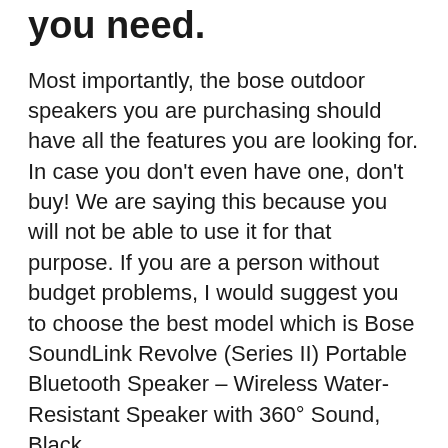you need.
Most importantly, the bose outdoor speakers you are purchasing should have all the features you are looking for. In case you don’t even have one, don’t buy! We are saying this because you will not be able to use it for that purpose. If you are a person without budget problems, I would suggest you to choose the best model which is Bose SoundLink Revolve (Series II) Portable Bluetooth Speaker – Wireless Water-Resistant Speaker with 360° Sound, Black
3. The brand
Buying the bose outdoor speakers from a reputable brand can actually make sense. Not only will it be better than others in terms